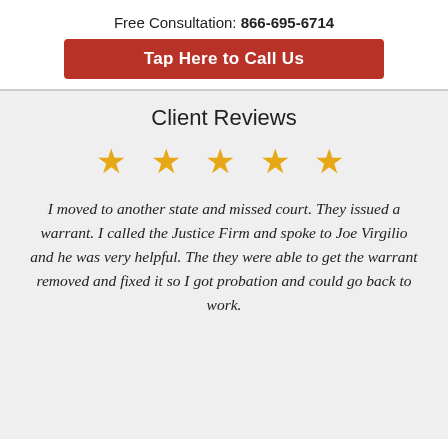Free Consultation: 866-695-6714
Tap Here to Call Us
Client Reviews
[Figure (other): Five gold star rating icons]
I moved to another state and missed court. They issued a warrant. I called the Justice Firm and spoke to Joe Virgilio and he was very helpful. The they were able to get the warrant removed and fixed it so I got probation and could go back to work.